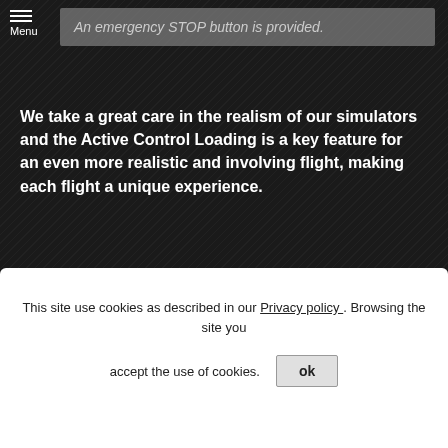Menu
An emergency STOP button is provided.
We take a great care in the realism of our simulators and the Active Control Loading is a key feature for an even more realistic and involving flight, making each flight a unique experience.
This site use cookies as described in our Privacy policy . Browsing the site you accept the use of cookies.